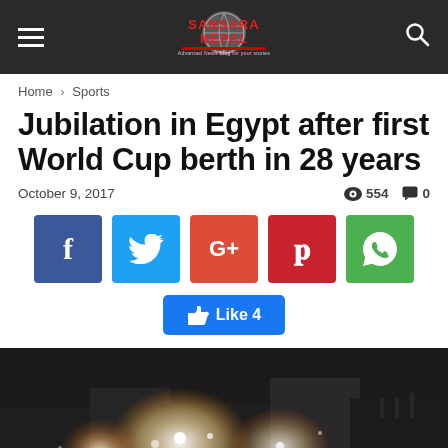SANSARA NEPAL
Home › Sports
Jubilation in Egypt after first World Cup berth in 28 years
October 9, 2017   554   0
[Figure (screenshot): Social media sharing buttons: Facebook, Twitter, Google+, Pinterest, WhatsApp, and a Like 4 button]
[Figure (photo): Night crowd celebration photo, bright lights and people gathered outdoors]